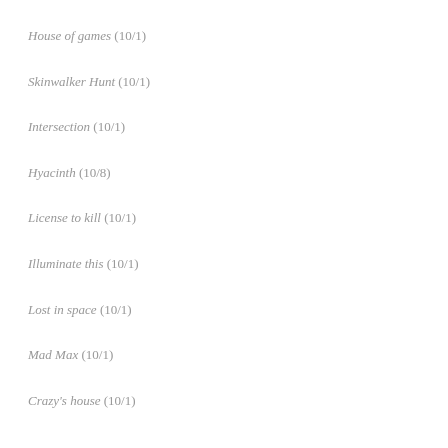House of games (10/1)
Skinwalker Hunt (10/1)
Intersection (10/1)
Hyacinth (10/8)
License to kill (10/1)
Illuminate this (10/1)
Lost in space (10/1)
Mad Max (10/1)
Crazy's house (10/1)